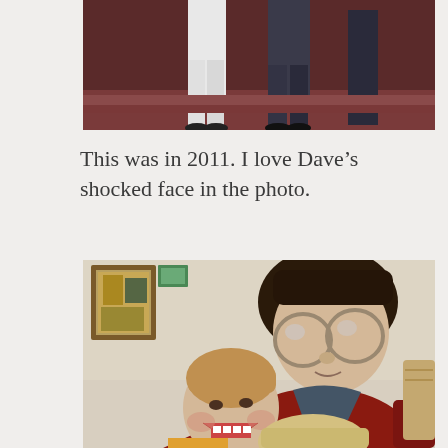[Figure (photo): Partial photo showing legs/lower body of people standing, cropped at top of page]
This was in 2011. I love Dave’s shocked face in the photo.
[Figure (photo): Photo of a man with round glasses wearing a red jacket, with two young children, taken indoors with framed pictures on a cream-colored wall in the background]